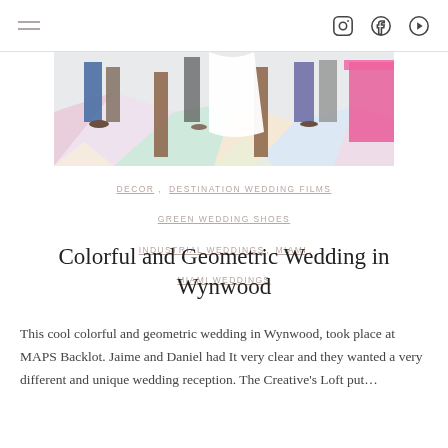[navigation bar with hamburger menu and social icons]
[Figure (photo): Wedding ceremony photo cropped to show lower half — colorful geometric patterned floor with people standing, pink table in background]
DECOR  DESTINATION WEDDING FILMS  GREEN WEDDING SHOES  INDUSTRIAL WEDDINGS,  MIAMI,  MIAMI WEDDINGS
Colorful and Geometric Wedding in Wynwood
This cool colorful and geometric wedding in Wynwood, took place at MAPS Backlot. Jaime and Daniel had It very clear and they wanted a very different and unique wedding reception. The Creative's Loft put…